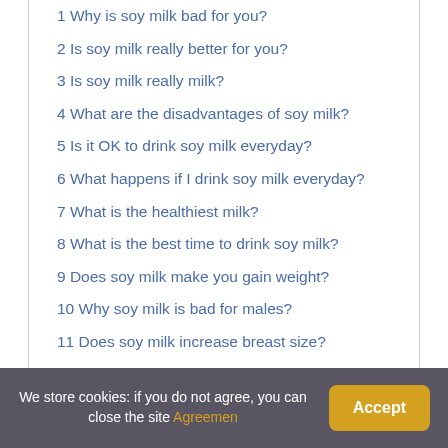1 Why is soy milk bad for you?
2 Is soy milk really better for you?
3 Is soy milk really milk?
4 What are the disadvantages of soy milk?
5 Is it OK to drink soy milk everyday?
6 What happens if I drink soy milk everyday?
7 What is the healthiest milk?
8 What is the best time to drink soy milk?
9 Does soy milk make you gain weight?
10 Why soy milk is bad for males?
11 Does soy milk increase breast size?
12 Is soy milk healthier than normal milk?
13 Does soy have side effects?
14 What are the dangers of soy?
15 Is soy milk good for ladies?
We store cookies: if you do not agree, you can close the site Agreemen